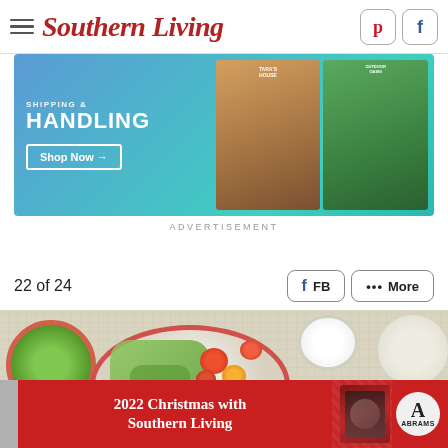Southern Living
[Figure (other): Advertisement banner with gradient blue-teal background showing 'SHIPPING & HANDLING' text, 'Shop Now →' button, and book/magazine images]
ADVERTISEMENT
22 of 24
[Figure (other): Social share buttons: FB (Facebook) and ••• More]
[Figure (photo): Overhead food photo showing a plate of pasta/noodles with green pesto sauce, cherry tomatoes, and a small bowl of green sauce on a wicker table, with a white flower.]
[Figure (other): Advertisement: '2022 Christmas with Southern Living' book promotion in red with Abrams publisher logo]